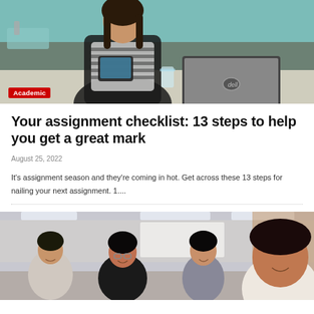[Figure (photo): A woman in a striped shirt and black cardigan holding a tablet, with a Dell laptop visible on a white kitchen counter in the background.]
Academic
Your assignment checklist: 13 steps to help you get a great mark
August 25, 2022
It's assignment season and they're coming in hot. Get across these 13 steps for nailing your next assignment. 1....
[Figure (photo): Four female students sitting together smiling, looking at something off-screen, in a classroom or study area with overhead lighting.]